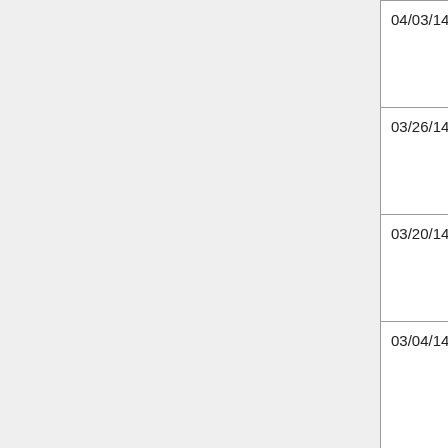| Date | Title | Audio | Extra |
| --- | --- | --- | --- |
| 04/03/14 | Apps for Note Taking | Audio |  |
| 03/26/14 | TFL: AT For Aging in Place | Audio |  |
| 03/20/14 | TFL: Low Tech Communication | Audio |  |
| 03/04/14 | TFL: Strengthening Your CORE | Audio | 3 W... 3 W... A... B... N... |
| 02/18/14 | TFL: Two Peas in a Pod: IEP Objectives & | Audio | B... P... In... U... M... |